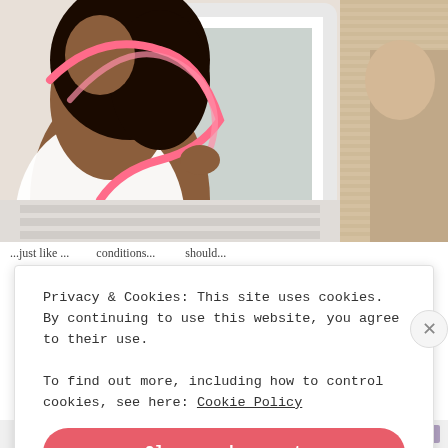[Figure (photo): A woman in a white tank top wearing a pink measuring tape around her neck and chest, standing in front of a decorative white-framed mirror. Another person is partially visible on the right side of the image.]
...just like... conditions... should...
Privacy & Cookies: This site uses cookies. By continuing to use this website, you agree to their use.
To find out more, including how to control cookies, see here: Cookie Policy
Close and accept